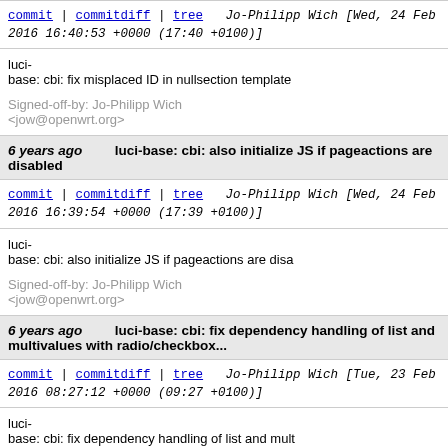commit | commitdiff | tree   Jo-Philipp Wich [Wed, 24 Feb 2016 16:40:53 +0000 (17:40 +0100)]
luci-base: cbi: fix misplaced ID in nullsection template

Signed-off-by: Jo-Philipp Wich <jow@openwrt.org>
6 years ago   luci-base: cbi: also initialize JS if pageactions are disabled
commit | commitdiff | tree   Jo-Philipp Wich [Wed, 24 Feb 2016 16:39:54 +0000 (17:39 +0100)]
luci-base: cbi: also initialize JS if pageactions are disabled

Signed-off-by: Jo-Philipp Wich <jow@openwrt.org>
6 years ago   luci-base: cbi: fix dependency handling of list and multivalues with radio/checkbox...
commit | commitdiff | tree   Jo-Philipp Wich [Tue, 23 Feb 2016 08:27:12 +0000 (09:27 +0100)]
luci-base: cbi: fix dependency handling of list and mult